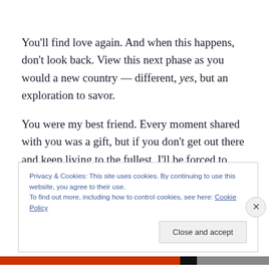You'll find love again. And when this happens, don't look back. View this next phase as you would a new country — different, yes, but an exploration to savor.
You were my best friend. Every moment shared with you was a gift, but if you don't get out there and keep living to the fullest, I'll be forced to send in the crows — a murder
Privacy & Cookies: This site uses cookies. By continuing to use this website, you agree to their use.
To find out more, including how to control cookies, see here: Cookie Policy
Close and accept